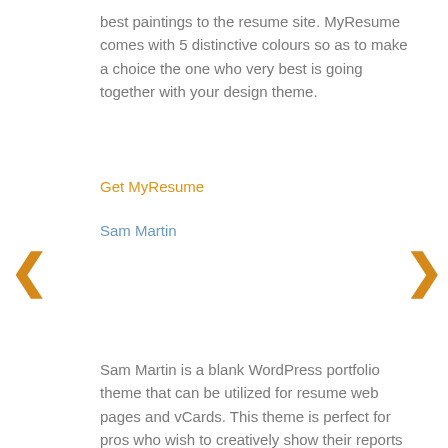best paintings to the resume site. MyResume comes with 5 distinctive colours so as to make a choice the one who very best is going together with your design theme.
Get MyResume
Sam Martin
‹
›
Sam Martin is a blank WordPress portfolio theme that can be utilized for resume web pages and vCards. This theme is perfect for pros who wish to creatively show their reports and abilities.